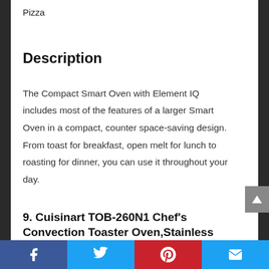Pizza
Description
The Compact Smart Oven with Element IQ includes most of the features of a larger Smart Oven in a compact, counter space-saving design. From toast for breakfast, open melt for lunch to roasting for dinner, you can use it throughout your day.
9. Cuisinart TOB-260N1 Chef's Convection Toaster Oven,Stainless
Facebook | Twitter | Pinterest | Email